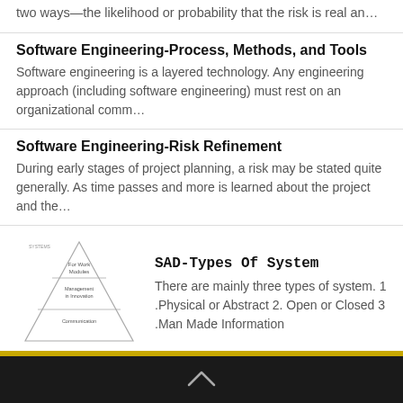two ways—the likelihood or probability that the risk is real an…
Software Engineering-Process, Methods, and Tools
Software engineering is a layered technology. Any engineering approach (including software engineering) must rest on an organizational comm…
Software Engineering-Risk Refinement
During early stages of project planning, a risk may be stated quite generally. As time passes and more is learned about the project and the…
[Figure (illustration): A triangle/pyramid diagram representing SAD types of system, with three horizontal sections labeled from top to bottom.]
SAD-Types Of System
There are mainly three types of system. 1 .Physical or Abstract 2. Open or Closed 3 .Man Made Information
Software Engineering-Risk Identification
Risk identification is a systematic attempt to specify threats to the project plan (estimates, schedule, resource loading, etc.). By identi…